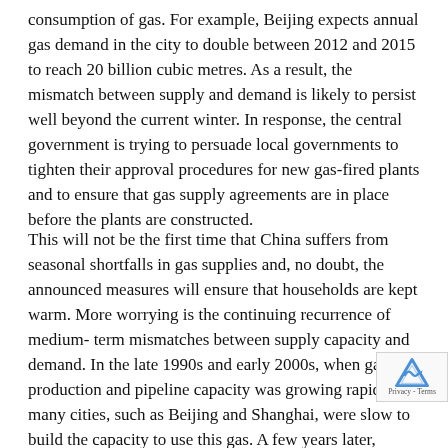consumption of gas. For example, Beijing expects annual gas demand in the city to double between 2012 and 2015 to reach 20 billion cubic metres. As a result, the mismatch between supply and demand is likely to persist well beyond the current winter. In response, the central government is trying to persuade local governments to tighten their approval procedures for new gas-fired plants and to ensure that gas supply agreements are in place before the plants are constructed.
This will not be the first time that China suffers from seasonal shortfalls in gas supplies and, no doubt, the announced measures will ensure that households are kept warm. More worrying is the continuing recurrence of medium- term mismatches between supply capacity and demand. In the late 1990s and early 2000s, when gas production and pipeline capacity was growing rapidly, many cities, such as Beijing and Shanghai, were slow to build the capacity to use this gas. A few years later, electricity companies were building power stations that did not receive any gas supplies — a situation that is now recurring.